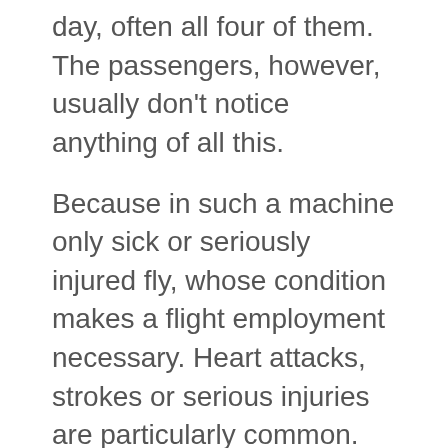day, often all four of them. The passengers, however, usually don't notice anything of all this.
Because in such a machine only sick or seriously injured fly, whose condition makes a flight employment necessary. Heart attacks, strokes or serious injuries are particularly common. Then one of the intensive care airplanes takes off from Nuremberg and picks up the patient so that he can be treated in a clinic close to his home.
Andreas M.'s reason for flying was a severe infection. Breathlessness, weakness, organ failure - suddenly the 43-year-old Upper Bavarian's trip to Mexico became a life-threatening exception. In spring 2016, an ambulance pilot took him to the University Hospital in Erlangen, where he was